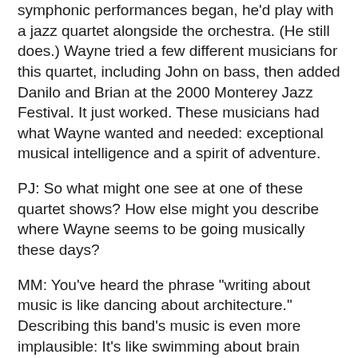symphonic performances began, he'd play with a jazz quartet alongside the orchestra. (He still does.) Wayne tried a few different musicians for this quartet, including John on bass, then added Danilo and Brian at the 2000 Monterey Jazz Festival. It just worked. These musicians had what Wayne wanted and needed: exceptional musical intelligence and a spirit of adventure.
PJ: So what might one see at one of these quartet shows? How else might you describe where Wayne seems to be going musically these days?
MM: You've heard the phrase "writing about music is like dancing about architecture." Describing this band's music is even more implausible: It's like swimming about brain surgery.
It's easier to start with what audiences won't hear. Even though this is an acoustic group, audiences won't hear tunes played in the style of Wayne's classic Blue Note recordings. They won't hear set compositions at all. The band will likely play a sort of stream-of-consciousness suite, seguing without